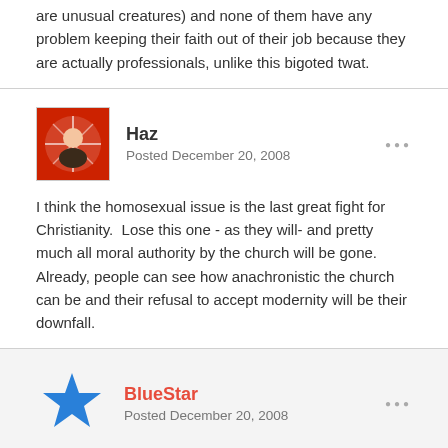are unusual creatures) and none of them have any problem keeping their faith out of their job because they are actually professionals, unlike this bigoted twat.
Haz
Posted December 20, 2008

I think the homosexual issue is the last great fight for Christianity.  Lose this one - as they will- and pretty much all moral authority by the church will be gone.  Already, people can see how anachronistic the church can be and their refusal to accept modernity will be their downfall.
BlueStar
Posted December 20, 2008

Same kind of nonsense as pharmacists who refuse to dispense the pill and checkout operators who refuse to serve alcohol, if requirements of your job are against your religion then find